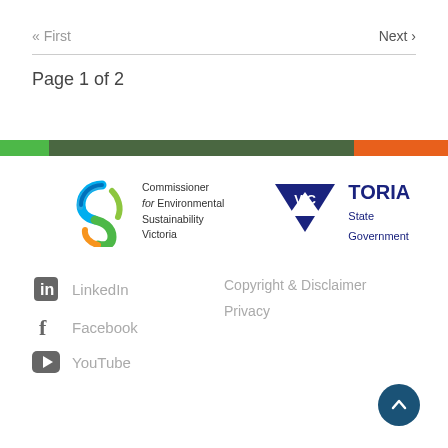« First
Next ›
Page 1 of 2
[Figure (logo): Commissioner for Environmental Sustainability Victoria logo — colourful S-swirl with text]
[Figure (logo): Victoria State Government logo — dark blue downward triangle with VICTORIA State Government text]
LinkedIn
Facebook
YouTube
Copyright & Disclaimer
Privacy